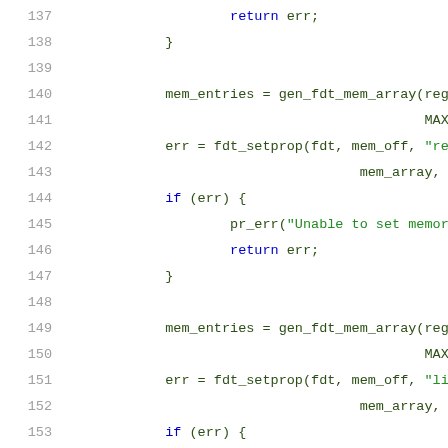[Figure (screenshot): Source code listing showing lines 137-157 of a C file. Lines show memory region setup using gen_fdt_mem_array, fdt_setprop, pr_err, and return statements. Line numbers in gray on the left, keywords in blue, string literals in green, identifiers in dark green.]